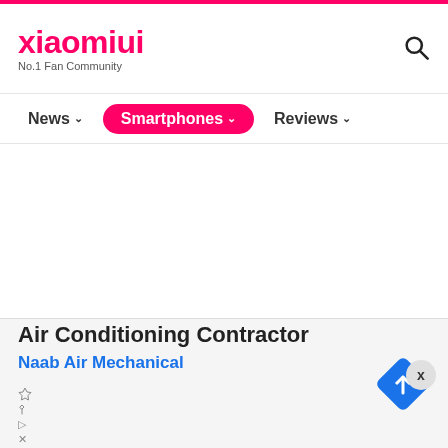xiaomiui — No.1 Fan Community
News | Smartphones | Reviews
[Figure (screenshot): White blank content area of a website page]
Air Conditioning Contractor
Naab Air Mechanical